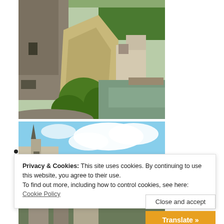[Figure (photo): Aerial view of a castle ruin with stone towers, rocky cliff face, green trees, and a river/canal below with green landscape]
[Figure (photo): Blue sky with white clouds and a church spire visible at left edge]
Privacy & Cookies: This site uses cookies. By continuing to use this website, you agree to their use.
To find out more, including how to control cookies, see here: Cookie Policy
Close and accept
Translate »
[Figure (photo): Partially visible landscape or town photo at bottom]